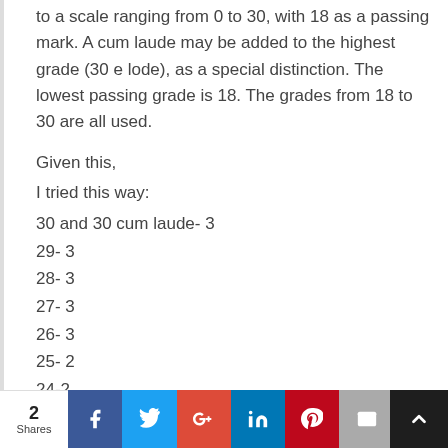to a scale ranging from 0 to 30, with 18 as a passing mark. A cum laude may be added to the highest grade (30 e lode), as a special distinction. The lowest passing grade is 18. The grades from 18 to 30 are all used.
Given this,
I tried this way:
30 and 30 cum laude- 3
29- 3
28- 3
27- 3
26- 3
25- 2
24-2
23-2
22-2
20-1
2 Shares  [social share buttons: Facebook, Twitter, Google+, LinkedIn, Pinterest, Email, Bookmark]